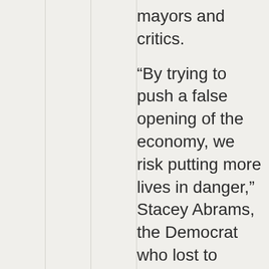mayors and critics.
“By trying to push a false opening of the economy, we risk putting more lives in danger,” Stacey Abrams, the Democrat who lost to Kemp in a controversial election in 2018, told MSNBC…”
https://www.theg…